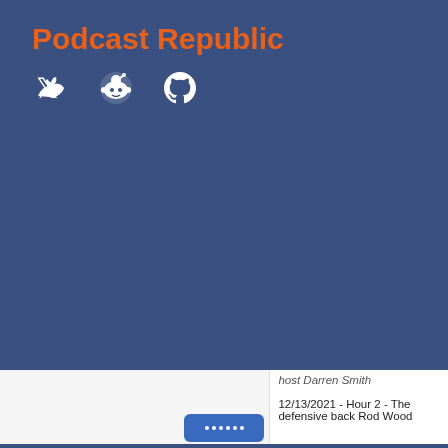Podcast Republic
[Figure (illustration): Social media icons: Twitter bird icon, Reddit alien icon, GitHub Octocat icon, displayed in white on blue background]
host Darren Smith
12/13/2021 - Hour 2 - The defensive back Rod Wood